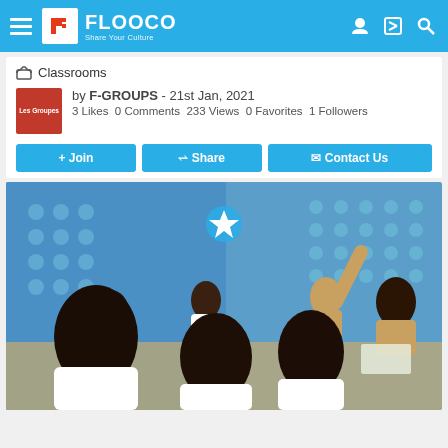FLOOCO - Share Your Culture
Classrooms
by F-GROUPS - 21st Jan, 2021
3 Likes  0 Comments  233 Views  0 Favorites  1 Followers
+ Join   Share   Contact Us
[Figure (photo): Students in a classroom with blue walls; children in white school uniforms sitting at desks, one student raising hand]